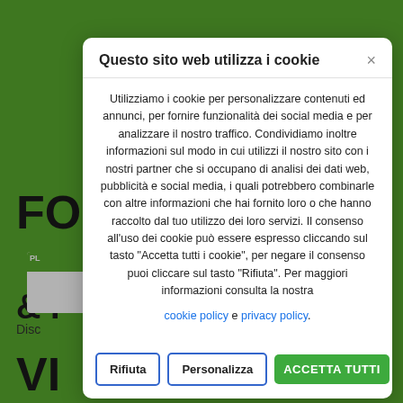Questo sito web utilizza i cookie
Utilizziamo i cookie per personalizzare contenuti ed annunci, per fornire funzionalità dei social media e per analizzare il nostro traffico. Condividiamo inoltre informazioni sul modo in cui utilizzi il nostro sito con i nostri partner che si occupano di analisi dei dati web, pubblicità e social media, i quali potrebbero combinarle con altre informazioni che hai fornito loro o che hanno raccolto dal tuo utilizzo dei loro servizi. Il consenso all'uso dei cookie può essere espresso cliccando sul tasto "Accetta tutti i cookie", per negare il consenso puoi cliccare sul tasto "Rifiuta". Per maggiori informazioni consulta la nostra cookie policy e privacy policy.
Rifiuta
Personalizza
ACCETTA TUTTI